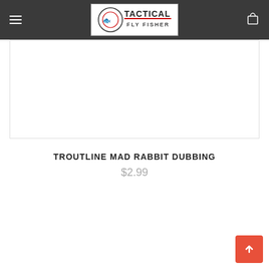Tactical Fly Fisher
[Figure (photo): Product image area - white empty space with light border]
TROUTLINE MAD RABBIT DUBBING
$2.99